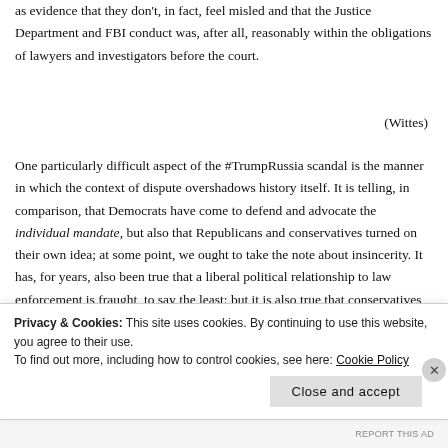as evidence that they don't, in fact, feel misled and that the Justice Department and FBI conduct was, after all, reasonably within the obligations of lawyers and investigators before the court.
(Wittes)
One particularly difficult aspect of the #TrumpRussia scandal is the manner in which the context of dispute overshadows history itself. It is telling, in comparison, that Democrats have come to defend and advocate the individual mandate, but also that Republicans and conservatives turned on their own idea; at some point, we ought to take the note about insincerity. It has, for years, also been true that a liberal political relationship to law enforcement is fraught, to say the least; but it is also true that conservatives
Privacy & Cookies: This site uses cookies. By continuing to use this website, you agree to their use.
To find out more, including how to control cookies, see here: Cookie Policy
Close and accept
REPORT THIS AD